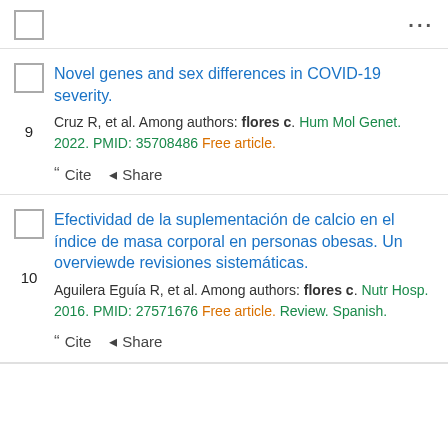☐  ···
Novel genes and sex differences in COVID-19 severity.
Cruz R, et al. Among authors: flores c. Hum Mol Genet. 2022. PMID: 35708486 Free article.
" Cite  < Share
Efectividad de la suplementación de calcio en el índice de masa corporal en personas obesas. Un overviewde revisiones sistemáticas.
Aguilera Eguía R, et al. Among authors: flores c. Nutr Hosp. 2016. PMID: 27571676 Free article. Review. Spanish.
" Cite  < Share